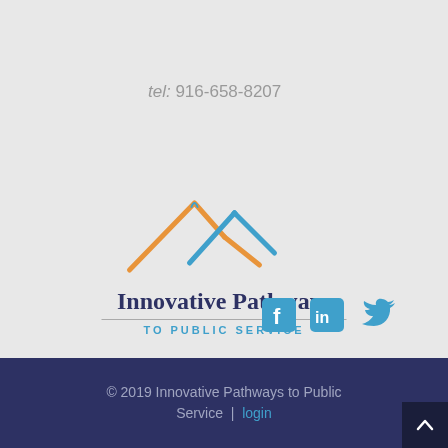tel: 916-658-8207
[Figure (logo): Innovative Pathways to Public Service logo with orange and blue mountain peaks above the text 'Innovative Pathways' and subtitle 'TO PUBLIC SERVICE']
[Figure (infographic): Social media icons: Facebook, LinkedIn, Twitter in teal/blue color]
© 2019 Innovative Pathways to Public Service  |  login